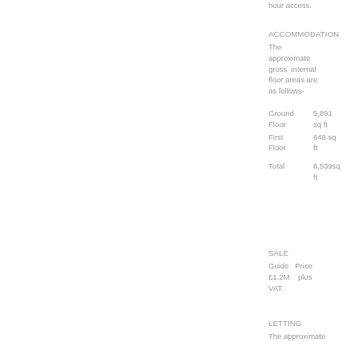hour access.
ACCOMMODATION
The approximate gross internal floor areas are as follows-
| Ground Floor | 5,891 sq ft |
| First Floor | 648 sq ft |
| Total | 6,539sq ft |
SALE
Guide Price £1.2M plus VAT.
LETTING
The approximate